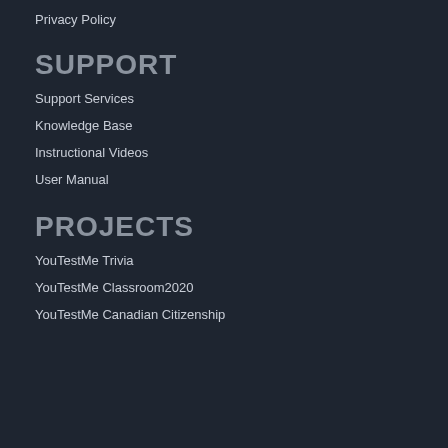Privacy Policy
SUPPORT
Support Services
Knowledge Base
Instructional Videos
User Manual
PROJECTS
YouTestMe Trivia
YouTestMe Classroom2020
YouTestMe Canadian Citizenship